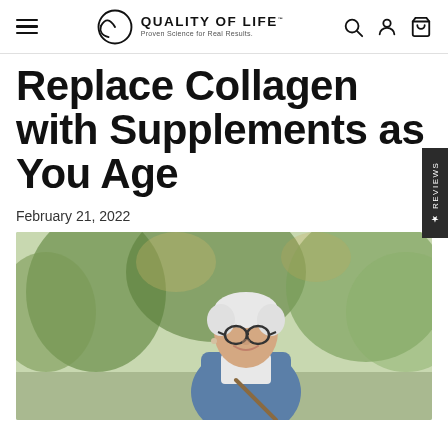Quality of Life — Proven Science for Real Results.
Replace Collagen with Supplements as You Age
February 21, 2022
[Figure (photo): Older woman with short white hair and glasses, smiling, wearing a denim jacket, photographed outdoors with green trees in the background.]